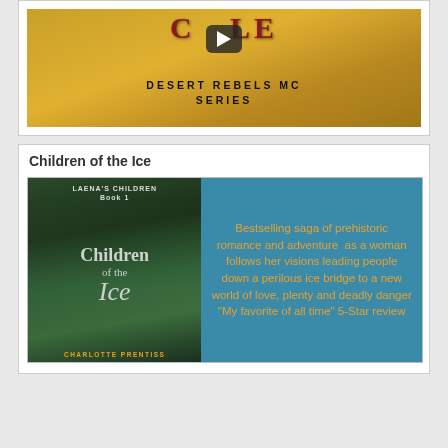[Figure (screenshot): Video thumbnail showing partial text 'COLE' in red serif font at top, a YouTube-style play button in dark rounded rectangle, and below it 'DESERT REBELS MC SERIES' text in black on golden/amber background]
Children of the Ice
[Figure (illustration): Book advertisement banner split in two: left side shows book cover 'Children of the Ice' by Charlotte Prentiss (Laena's Children Book 1) with green forest background and woman figure; right side is teal/blue background with orange text 'Bestselling saga of prehistoric romance and adventure as a woman follows her visions leading people down a perilous ice bridge to a new world of love, plenty and deadly danger "My favorite of all time" 5-Star review']